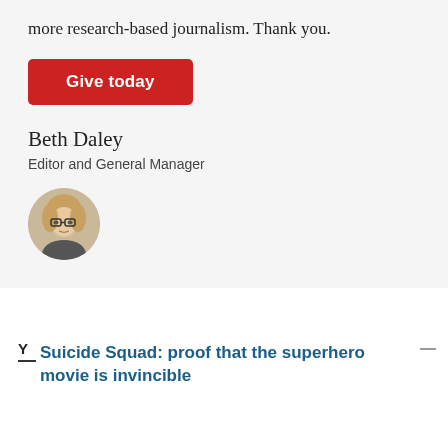more research-based journalism. Thank you.
Give today
Beth Daley
Editor and General Manager
[Figure (photo): Circular headshot photo of Beth Daley, a woman with blonde hair and glasses]
Y
Suicide Squad: proof that the superhero movie is invincible